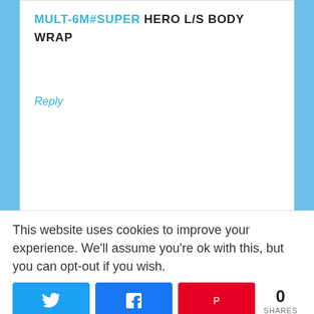MULT-6M#SUPER HERO L/S BODY WRAP
Reply
Ross Hassel says
August 7, 2013 at 2:26 pm
This website uses cookies to improve your experience. We'll assume you're ok with this, but you can opt-out if you wish.
0 SHARES